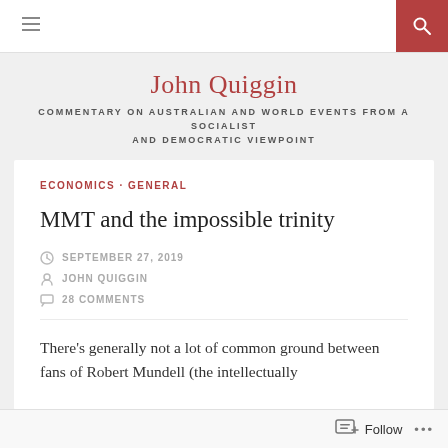≡  [search]
John Quiggin
COMMENTARY ON AUSTRALIAN AND WORLD EVENTS FROM A SOCIALIST AND DEMOCRATIC VIEWPOINT
ECONOMICS · GENERAL
MMT and the impossible trinity
SEPTEMBER 27, 2019
JOHN QUIGGIN
28 COMMENTS
There's generally not a lot of common ground between fans of Robert Mundell (the intellectually